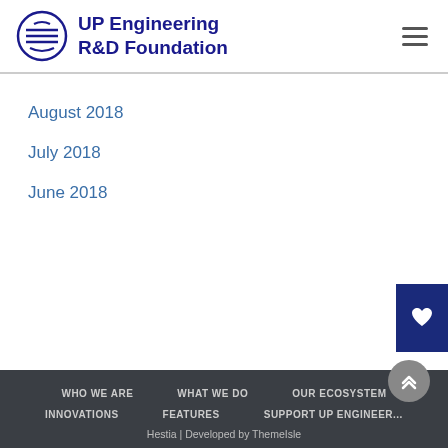UP Engineering R&D Foundation
August 2018
July 2018
June 2018
WHO WE ARE   WHAT WE DO   OUR ECOSYSTEM   INNOVATIONS   FEATURES   SUPPORT UP ENGINEERING
Hestia | Developed by ThemeIsle